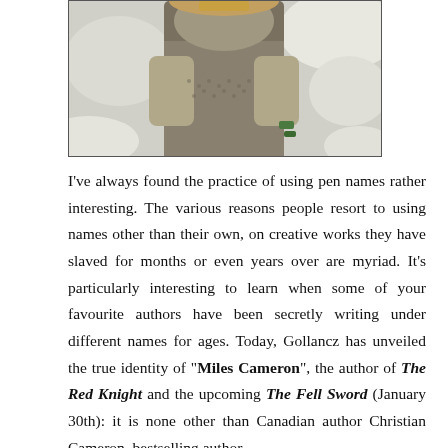[Figure (photo): A person in medieval chainmail and armour, photographed outdoors in a snowy setting with rocks and snow visible in the background.]
I've always found the practice of using pen names rather interesting. The various reasons people resort to using names other than their own, on creative works they have slaved for months or even years over are myriad. It's particularly interesting to learn when some of your favourite authors have been secretly writing under different names for ages. Today, Gollancz has unveiled the true identity of “Miles Cameron”, the author of The Red Knight and the upcoming The Fell Sword (January 30th): it is none other than Canadian author Christian Cameron, bestselling author